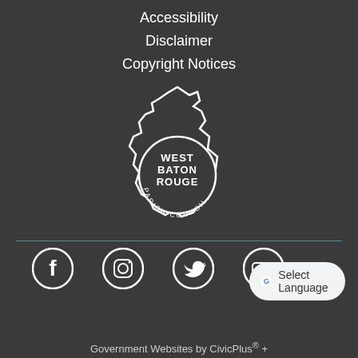Accessibility
Disclaimer
Copyright Notices
[Figure (logo): West Baton Rouge Parish Council logo — white outline of the parish shape with text 'WEST BATON ROUGE PARISH COUNCIL' inside]
[Figure (infographic): Row of social media icons: Facebook, Instagram, Twitter, YouTube]
[Figure (screenshot): Google Translate button widget with 'Select Language' label]
Government Websites by CivicPlus®